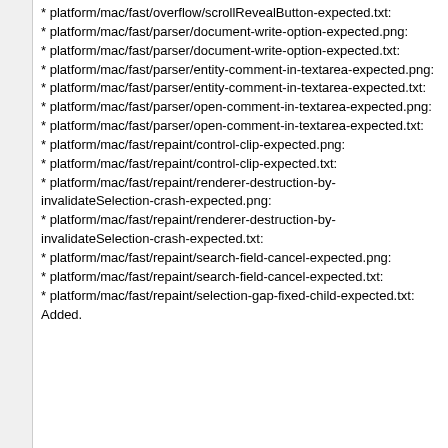* platform/mac/fast/overflow/scrollRevealButton-expected.txt:
* platform/mac/fast/parser/document-write-option-expected.png:
* platform/mac/fast/parser/document-write-option-expected.txt:
* platform/mac/fast/parser/entity-comment-in-textarea-expected.png:
* platform/mac/fast/parser/entity-comment-in-textarea-expected.txt:
* platform/mac/fast/parser/open-comment-in-textarea-expected.png:
* platform/mac/fast/parser/open-comment-in-textarea-expected.txt:
* platform/mac/fast/repaint/control-clip-expected.png:
* platform/mac/fast/repaint/control-clip-expected.txt:
* platform/mac/fast/repaint/renderer-destruction-by-invalidateSelection-crash-expected.png:
* platform/mac/fast/repaint/renderer-destruction-by-invalidateSelection-crash-expected.txt:
* platform/mac/fast/repaint/search-field-cancel-expected.png:
* platform/mac/fast/repaint/search-field-cancel-expected.txt:
* platform/mac/fast/repaint/selection-gap-fixed-child-expected.txt: Added.